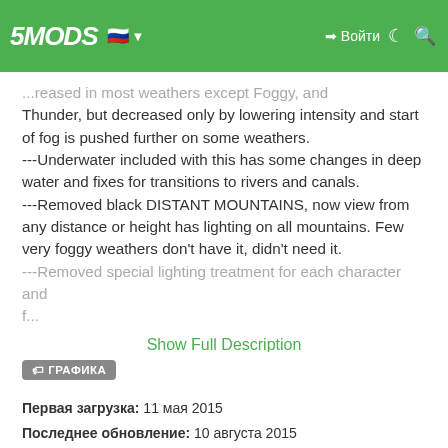5MODS [Russian flag] Войти
...reased in most weathers except Foggy, and Thunder, but decreased only by lowering intensity and start of fog is pushed further on some weathers.
---Underwater included with this has some changes in deep water and fixes for transitions to rivers and canals.
---Removed black DISTANT MOUNTAINS, now view from any distance or height has lighting on all mountains. Few very foggy weathers don't have it, didn't need it.
---Removed special lighting treatment for each character and [faded]
Show Full Description
ГРАФИКА
Первая загрузка: 11 мая 2015
Последнее обновление: 10 августа 2015
Последнее скачивание: 10 часов назад
All Versions